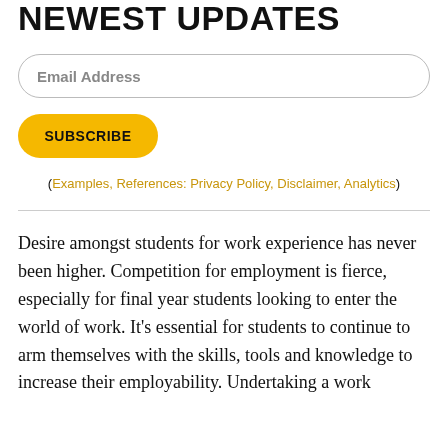NEWEST UPDATES
Email Address
SUBSCRIBE
(Examples, References: Privacy Policy, Disclaimer, Analytics)
Desire amongst students for work experience has never been higher. Competition for employment is fierce, especially for final year students looking to enter the world of work. It's essential for students to continue to arm themselves with the skills, tools and knowledge to increase their employability. Undertaking a work experience placement is indeed a great start to